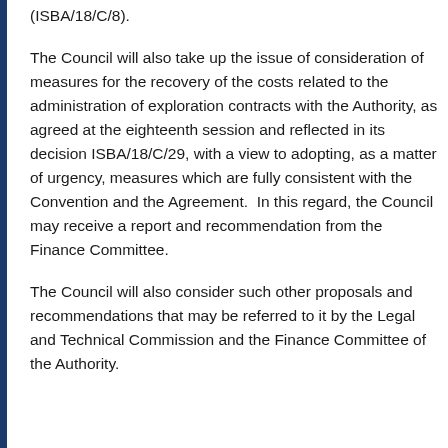(ISBA/18/C/8).
The Council will also take up the issue of consideration of measures for the recovery of the costs related to the administration of exploration contracts with the Authority, as agreed at the eighteenth session and reflected in its decision ISBA/18/C/29, with a view to adopting, as a matter of urgency, measures which are fully consistent with the Convention and the Agreement.  In this regard, the Council may receive a report and recommendation from the Finance Committee.
The Council will also consider such other proposals and recommendations that may be referred to it by the Legal and Technical Commission and the Finance Committee of the Authority.